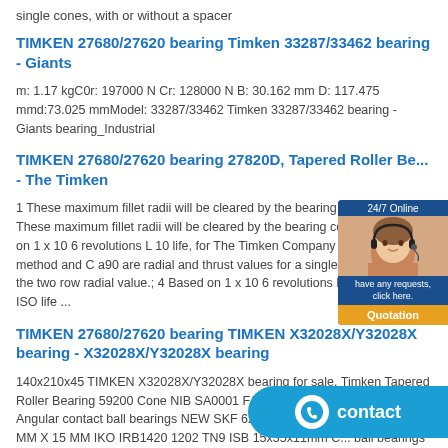single cones, with or without a spacer
TIMKEN 27680/27620 bearing Timken 33287/33462 bearing - Giants
m: 1.17 kgC0r: 197000 N Cr: 128000 N B: 30.162 mm D: 117.475 mmd:73.025 mmModel: 33287/33462 Timken 33287/33462 bearing - Giants bearing_Industrial
TIMKEN 27680/27620 bearing 27820D, Tapered Roller Be... - The Timken
1 These maximum fillet radii will be cleared by the bearing corners.; 2 These maximum fillet radii will be cleared by the bearing corners.; 3 Based on 1 x 10 6 revolutions L 10 life, for The Timken Company life calculation method and C a90 are radial and thrust values for a single-row, C 90(2) is the two row radial value.; 4 Based on 1 x 10 6 revolutions L 10 life, for the ISO life ...
TIMKEN 27680/27620 bearing TIMKEN X32028X/Y32028X bearing - X32028X/Y32028X bearing
140x210x45 TIMKEN X32028X/Y32028X bearing for sale. Timken Tapered Roller Bearing 59200 Cone NIB SA0001 FAG 36x68x33mm C 33 mm Angular contact ball bearings NEW SKF 6205-2RSH/C3 ROLLER B... 52 MM X 15 MM IKO IRB1420 1202 TN9 ISB 15x35x11mm C... ball bearings SCE66P AST Bearing Type Cage Retained Rollers: ...